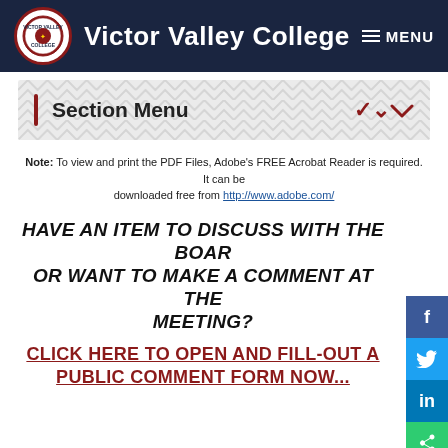Victor Valley College
Section Menu
Note: To view and print the PDF Files, Adobe's FREE Acrobat Reader is required. It can be downloaded free from http://www.adobe.com/
HAVE AN ITEM TO DISCUSS WITH THE BOARD OR WANT TO MAKE A COMMENT AT THE MEETING?
CLICK HERE TO OPEN AND FILL-OUT A PUBLIC COMMENT FORM NOW...